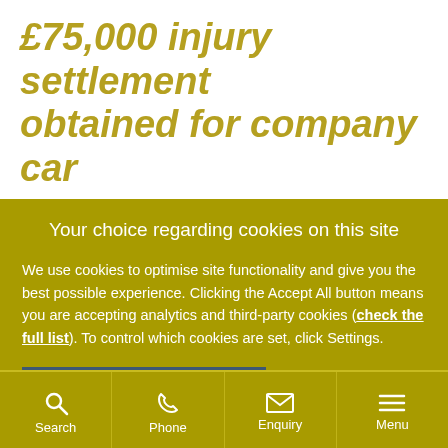£75,000 injury settlement obtained for company car
Your choice regarding cookies on this site
We use cookies to optimise site functionality and give you the best possible experience. Clicking the Accept All button means you are accepting analytics and third-party cookies (check the full list). To control which cookies are set, click Settings.
Accept All
Settings
Search  Phone  Enquiry  Menu